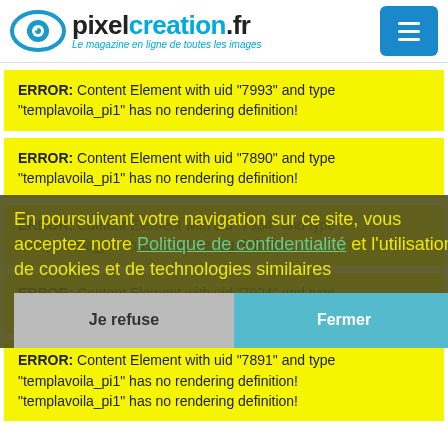[Figure (logo): pixelcreation.fr logo — eye icon, bold text 'pixelcreation.fr', tagline 'Le magazine en ligne de toutes les images', and a blue hamburger menu button]
ERROR: Content Element with uid "7993" and type "templavoila_pi1" has no rendering definition!
ERROR: Content Element with uid "7890" and type "templavoila_pi1" has no rendering definition!
ERROR: Content Element with uid "7954" and type "templavoila_pi1" has no rendering definition!
En poursuivant votre navigation sur ce site, vous acceptez notre Politique de confidentialité et l'utilisation de cookies et de technologies similaires
ERROR: Content Element with uid "7924" and type "templavoila_pi1" has no rendering definition!
Je refuse
Fermer
ERROR: Content Element with uid "7891" and type "templavoila_pi1" has no rendering definition!
"templavoila_pi1" has no rendering definition!